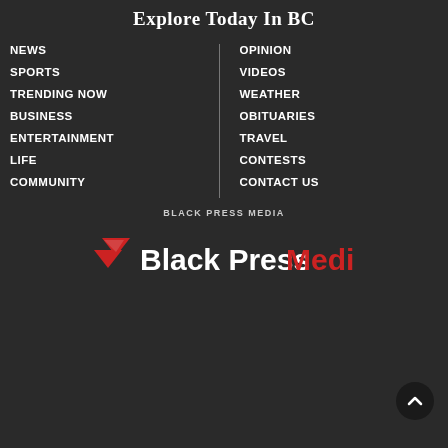Explore Today In BC
NEWS
SPORTS
TRENDING NOW
BUSINESS
ENTERTAINMENT
LIFE
COMMUNITY
OPINION
VIDEOS
WEATHER
OBITUARIES
TRAVEL
CONTESTS
CONTACT US
BLACK PRESS MEDIA
[Figure (logo): Black Press Media logo with red arrow/chevron icon, white 'Black Press' text and red 'Media' text]